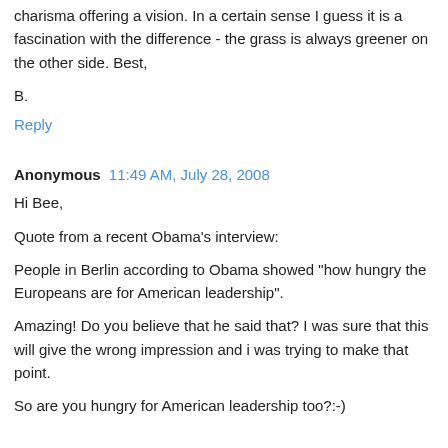charisma offering a vision. In a certain sense I guess it is a fascination with the difference - the grass is always greener on the other side. Best,
B.
Reply
Anonymous  11:49 AM, July 28, 2008
Hi Bee,
Quote from a recent Obama's interview:
People in Berlin according to Obama showed "how hungry the Europeans are for American leadership".
Amazing! Do you believe that he said that? I was sure that this will give the wrong impression and i was trying to make that point.
So are you hungry for American leadership too?:-)